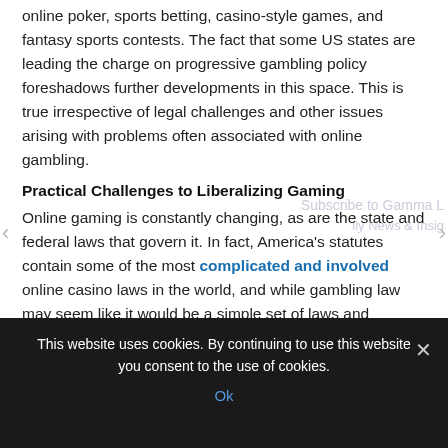online poker, sports betting, casino-style games, and fantasy sports contests. The fact that some US states are leading the charge on progressive gambling policy foreshadows further developments in this space. This is true irrespective of legal challenges and other issues arising with problems often associated with online gambling.
Practical Challenges to Liberalizing Gaming
Online gaming is constantly changing, as are the state and federal laws that govern it. In fact, America's statutes contain some of the most complicated and involved online casino laws in the world, and while gambling law may seem like it would be a simple set of laws and policies, there are countless potential legal issues that can arise from making and taking bets, facilitating payments to casinos, and
This website uses cookies. By continuing to use this website you consent to the use of cookies. Ok